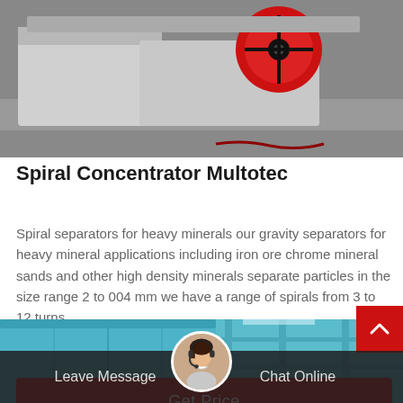[Figure (photo): Industrial machinery photo showing a white jaw crusher or similar heavy mining equipment with red flywheel, resting on a concrete floor.]
Spiral Concentrator Multotec
Spiral separators for heavy minerals our gravity separators for heavy mineral applications including iron ore chrome mineral sands and other high density minerals separate particles in the size range 2 to 004 mm we have a range of spirals from 3 to 12 turns…
[Figure (photo): Industrial facility interior showing large blue cylindrical tank or spiral concentrator equipment, with steel structure visible in the background.]
[Figure (photo): Circular avatar photo of a female customer service representative wearing a headset microphone, used as a chat/support widget.]